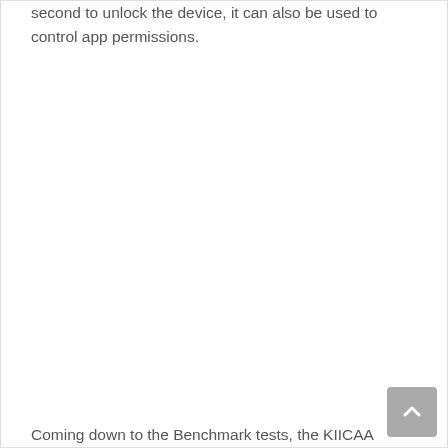second to unlock the device, it can also be used to control app permissions.
Coming down to the Benchmark tests, the KIICAA